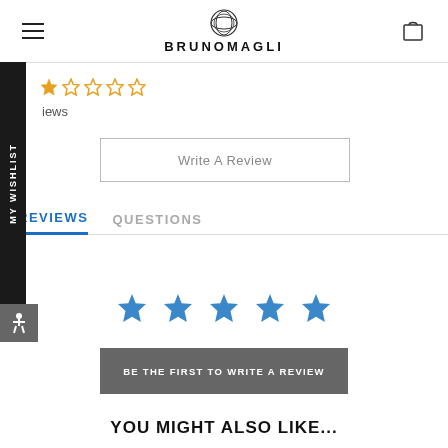BRUNOMAGLI
[Figure (other): Orange empty star rating (5 stars, all empty/outline)]
reviews
Write A Review
REVIEWS    QUESTIONS
[Figure (other): Five blue filled star icons]
BE THE FIRST TO WRITE A REVIEW
YOU MIGHT ALSO LIKE...